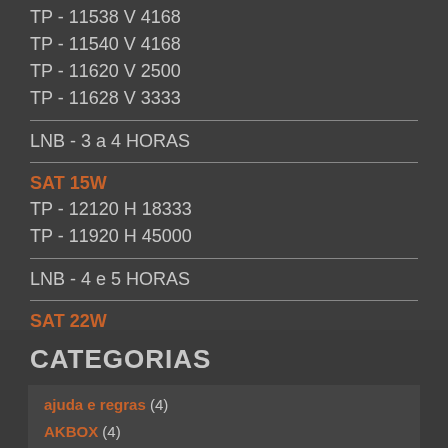TP - 11538 V 4168
TP - 11540 V 4168
TP - 11620 V 2500
TP - 11628 V 3333
LNB - 3 a 4 HORAS
SAT 15W
TP - 12120 H 18333
TP - 11920 H 45000
LNB - 4 e 5 HORAS
SAT 22W
SATLINK 6927/6906
CATEGORIAS
ajuda e regras (4)
AKBOX (4)
ALPHASAT (257)
AMERICABOX (154)
ANTENAS (26)